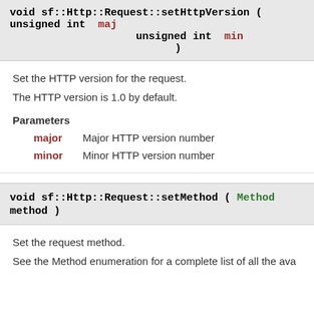void sf::Http::Request::setHttpVersion ( unsigned int maj, unsigned int min )
Set the HTTP version for the request.
The HTTP version is 1.0 by default.
Parameters
major Major HTTP version number
minor Minor HTTP version number
void sf::Http::Request::setMethod ( Method method )
Set the request method.
See the Method enumeration for a complete list of all the ava